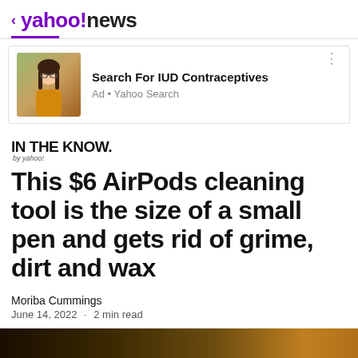< yahoo!news
[Figure (screenshot): Ad box with photo of young woman in yellow sweater, text: Search For IUD Contraceptives, Ad • Yahoo Search]
IN THE KNOW. by yahoo!
This $6 AirPods cleaning tool is the size of a small pen and gets rid of grime, dirt and wax
Moriba Cummings
June 14, 2022 · 2 min read
[Figure (photo): Dark gradient banner image, brown/gold tones]
View comments